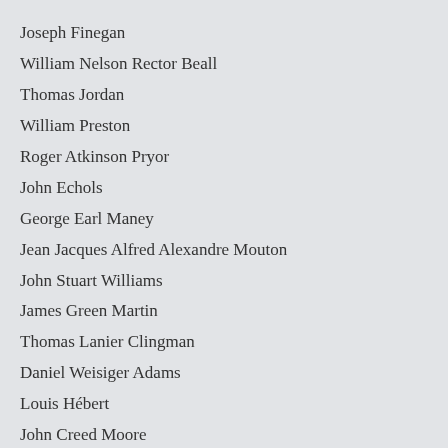Joseph Finegan
William Nelson Rector Beall
Thomas Jordan
William Preston
Roger Atkinson Pryor
John Echols
George Earl Maney
Jean Jacques Alfred Alexandre Mouton
John Stuart Williams
James Green Martin
Thomas Lanier Clingman
Daniel Weisiger Adams
Louis Hébert
John Creed Moore